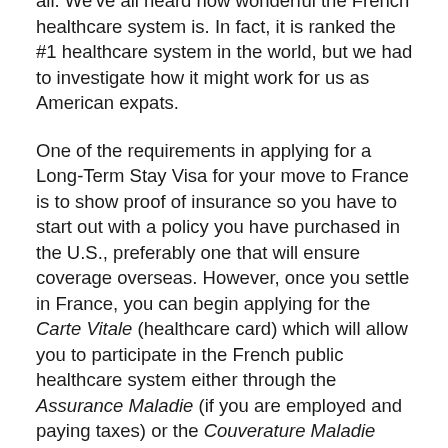all. We've all heard how wonderful the French healthcare system is. In fact, it is ranked the #1 healthcare system in the world, but we had to investigate how it might work for us as American expats.
One of the requirements in applying for a Long-Term Stay Visa for your move to France is to show proof of insurance so you have to start out with a policy you have purchased in the U.S., preferably one that will ensure coverage overseas. However, once you settle in France, you can begin applying for the Carte Vitale (healthcare card) which will allow you to participate in the French public healthcare system either through the Assurance Maladie (if you are employed and paying taxes) or the Couverature Maladie Universelle (if you are retired) — real universal healthcare coverage! While it is touted to be a lengthy process full of red tape, you can keep all receipts accrued during this